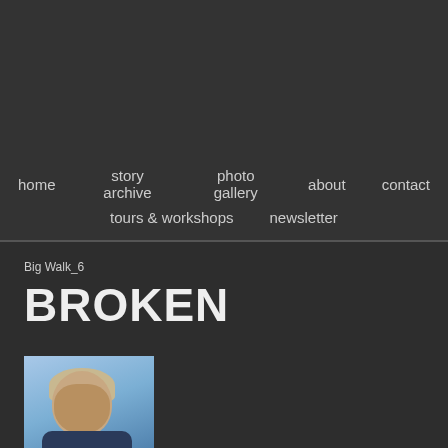home | story archive | photo gallery | about | contact | tours & workshops | newsletter
Big Walk_6
BROKEN
[Figure (photo): Portrait photo of a middle-aged man with grey/blonde hair, smiling, against a blue sky background]